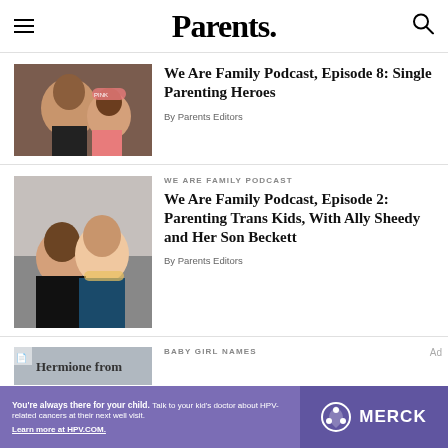Parents.
[Figure (photo): Two smiling women, one wearing pink headband]
We Are Family Podcast, Episode 8: Single Parenting Heroes
By Parents Editors
WE ARE FAMILY PODCAST
[Figure (photo): Woman with glasses and young man in graduation gown smiling together]
We Are Family Podcast, Episode 2: Parenting Trans Kids, With Ally Sheedy and Her Son Beckett
By Parents Editors
BABY GIRL NAMES
[Figure (photo): Partially visible image, Hermione from...]
Ad
You're always there for your child. Talk to your kid's doctor about HPV-related cancers at their next well visit. Learn more at HPV.COM. MERCK